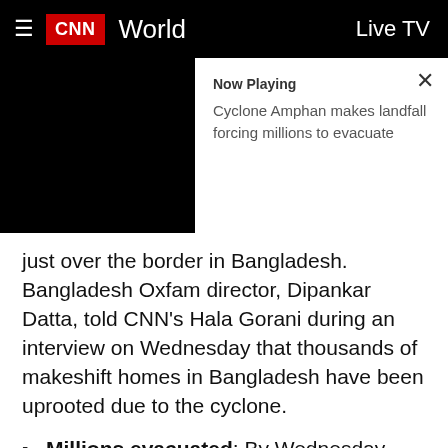CNN World | Live TV
[Figure (screenshot): CNN video thumbnail showing black screen for Cyclone Amphan coverage]
Now Playing
Cyclone Amphan makes landfall forcing millions to evacuate
just over the border in Bangladesh. Bangladesh Oxfam director, Dipankar Datta, told CNN's Hala Gorani during an interview on Wednesday that thousands of makeshift homes in Bangladesh have been uprooted due to the cyclone.
Millions evacuated: By Wednesday, Bangladesh had evacuated 2.4 million people, according to Enamur Rahaman, the state minister for disaster management and relief, who said evacuees from coastal areas would be relocated to more than 12,000 cyclone shelters.